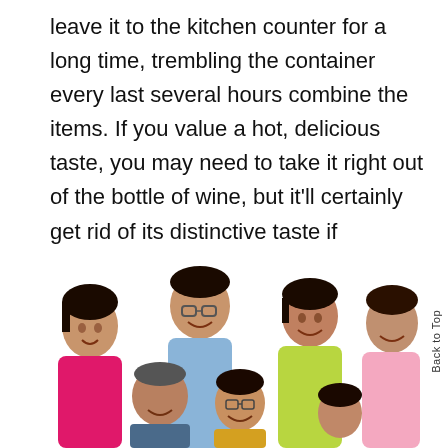leave it to the kitchen counter for a long time, trembling the container every last several hours combine the items. If you value a hot, delicious taste, you may need to take it right out of the bottle of wine, but it'll certainly get rid of its distinctive taste if eventually left to the table for too long. Don't start a can of hot gravy prior to the wrapping is freezing.
[Figure (photo): Group photo of several smiling Asian people in colorful polo shirts (pink, blue, yellow, light pink) against a white background — women and men of various ages forming a group portrait.]